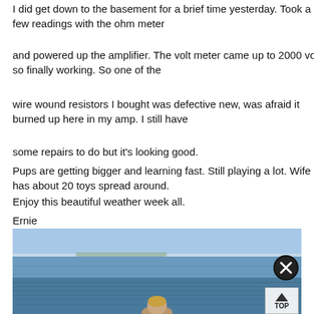I did get down to the basement for a brief time yesterday.  Took a few readings with the ohm meter
and powered up the amplifier.  The volt meter came up to 2000 volts so finally working.  So one of the
wire wound resistors I bought was defective new, was afraid it burned up here in my amp.  I still have
some repairs to do but it's looking good.
Pups are getting bigger and learning fast.  Still playing a lot.  Wife has about 20 toys spread around.
Enjoy this beautiful weather week all.
Ernie
[Figure (photo): Outdoor photo of a person near a large body of water (sea or lake) with a clear sky horizon. A close-up button and TOP navigation button overlay the photo.]